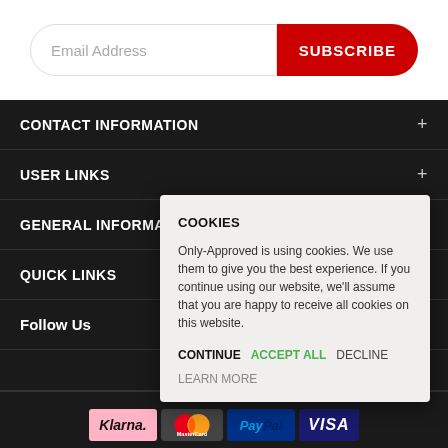Email Address
SUBSCRIBE
CONTACT INFORMATION
USER LINKS
GENERAL INFORMATION
QUICK LINKS
Follow Us
COOKIES
Only-Approved is using cookies. We use them to give you the best experience. If you continue using our website, we'll assume that you are happy to receive all cookies on this website.
CONTINUE   ACCEPT ALL   DECLINE   LEARN MORE
© Est                                                                        arved.
[Figure (logo): Payment method logos: Klarna, MasterCard, PayPal, VISA]